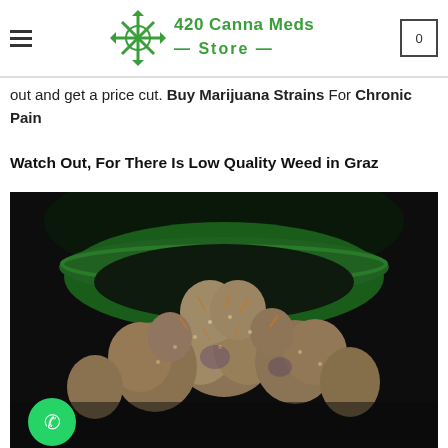420 Canna Meds Store — navigation header with logo and cart icon showing 0
out and get a price cut. Buy Marijuana Strains For Chronic Pain
Watch Out, For There Is Low Quality Weed in Graz
[Figure (photo): Close-up photo of cannabis flower buds in a dark green bowl against a dark background, with a WhatsApp contact button in the lower left corner]